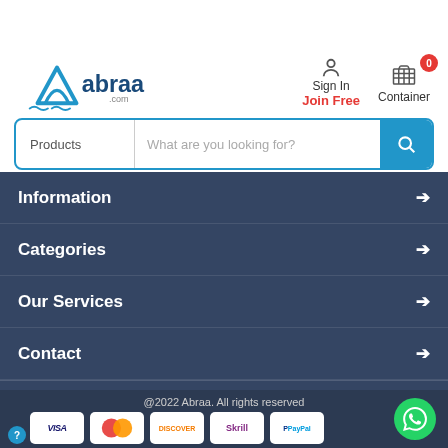[Figure (logo): Abraa.com logo with blue triangle/wave icon and text 'abraa .com']
Sign In
Join Free
[Figure (illustration): Shopping container/cart icon with badge showing 0]
Products
What are you looking for?
Information
Categories
Our Services
Contact
Follow Us:
@2022 Abraa. All rights reserved
[Figure (illustration): Payment icons: VISA, MasterCard, DISCOVER, Skrill, PayPal]